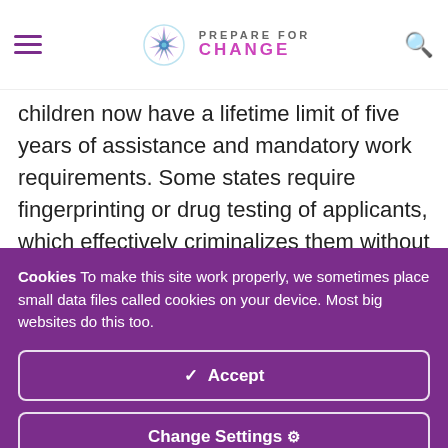PREPARE FOR CHANGE
children now have a lifetime limit of five years of assistance and mandatory work requirements. Some states require fingerprinting or drug testing of applicants, which effectively criminalizes them without cause. The obstacles to getting on welfare are formidable, the benefits meager. The number of families on welfare declined from 4.6 million in 1996 to 1.1 million this year. The decline of the welfare rolls has not
Cookies To make this site work properly, we sometimes place small data files called cookies on your device. Most big websites do this too.
✓ Accept
Change Settings ⚙